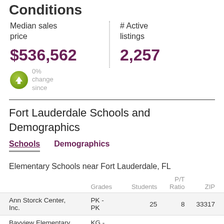Conditions
Median sales price
$536,562
0% change since
# Active listings
2,257
Fort Lauderdale Schools and Demographics
Schools  Demographics
Elementary Schools near Fort Lauderdale, FL
|  | Grades | Students | P/T Ratio | ZIP |
| --- | --- | --- | --- | --- |
| Ann Storck Center, Inc. | PK - PK | 25 | 8 | 33317 |
| Bayview Elementary School | KG - 05 | 560 | 17 | 33304 |
| Bennett Elementary | PK - |  |  |  |